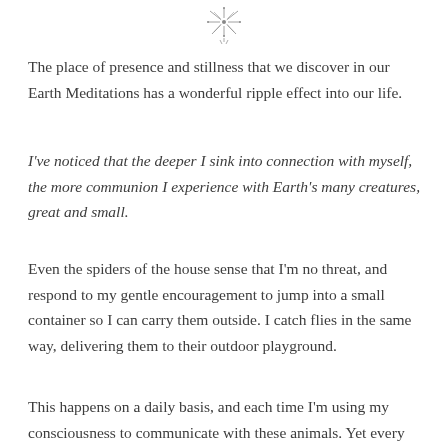[Figure (illustration): Small decorative ornament or starburst/sunburst design at the top center of the page]
The place of presence and stillness that we discover in our Earth Meditations has a wonderful ripple effect into our life.
I've noticed that the deeper I sink into connection with myself, the more communion I experience with Earth's many creatures, great and small.
Even the spiders of the house sense that I'm no threat, and respond to my gentle encouragement to jump into a small container so I can carry them outside. I catch flies in the same way, delivering them to their outdoor playground.
This happens on a daily basis, and each time I'm using my consciousness to communicate with these animals. Yet every now and then, I'll have an interaction that stands out above all the rest